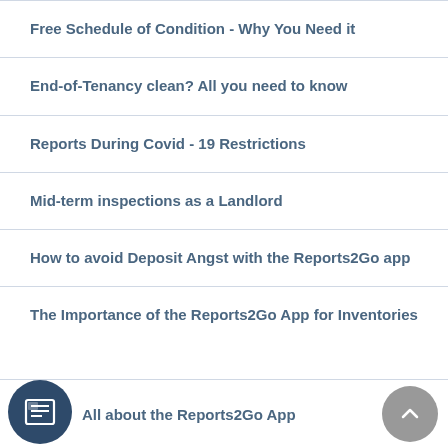Free Schedule of Condition - Why You Need it
End-of-Tenancy clean? All you need to know
Reports During Covid - 19 Restrictions
Mid-term inspections as a Landlord
How to avoid Deposit Angst with the Reports2Go app
The Importance of the Reports2Go App for Inventories
All about the Reports2Go App